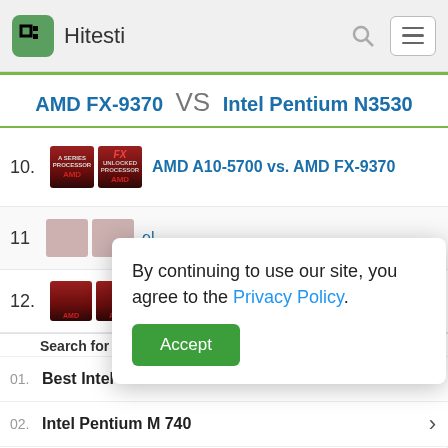Hitesti
AMD FX-9370 VS Intel Pentium N3530
10. AMD A10-5700 vs. AMD FX-9370
11. (partial, obscured by popup)
By continuing to use our site, you agree to the Privacy Policy.
Accept
12. A8-7650K
Search for
01. Best Intel CPUs
02. Intel Pentium M 740
13. (partial)
Yahoo! Search | Sponsored